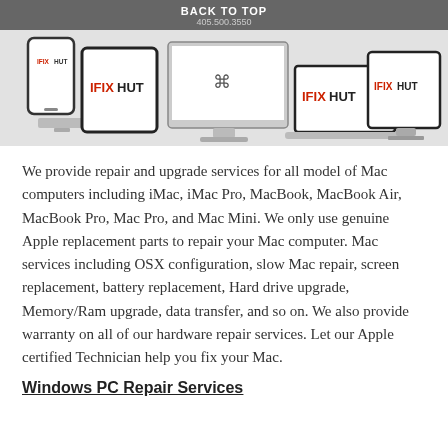BACK TO TOP
405.500.3550
[Figure (logo): IFIXHUT logo displayed on multiple Apple devices: smartphone, tablet/iPad, iMac desktop, laptop, and two monitors, all showing the IFIXHUT brand name in red and black.]
We provide repair and upgrade services for all model of Mac computers including iMac, iMac Pro, MacBook, MacBook Air, MacBook Pro, Mac Pro, and Mac Mini. We only use genuine Apple replacement parts to repair your Mac computer. Mac services including OSX configuration, slow Mac repair, screen replacement, battery replacement, Hard drive upgrade, Memory/Ram upgrade, data transfer, and so on. We also provide warranty on all of our hardware repair services. Let our Apple certified Technician help you fix your Mac.
Windows PC Repair Services